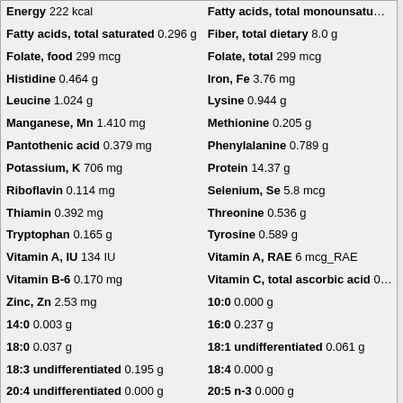| Nutrient (left) | Nutrient (right) |
| --- | --- |
| Energy 222 kcal | Fatty acids, total monounsatu… |
| Fatty acids, total saturated 0.296 g | Fiber, total dietary 8.0 g |
| Folate, food 299 mcg | Folate, total 299 mcg |
| Histidine 0.464 g | Iron, Fe 3.76 mg |
| Leucine 1.024 g | Lysine 0.944 g |
| Manganese, Mn 1.410 mg | Methionine 0.205 g |
| Pantothenic acid 0.379 mg | Phenylalanine 0.789 g |
| Potassium, K 706 mg | Protein 14.37 g |
| Riboflavin 0.114 mg | Selenium, Se 5.8 mcg |
| Thiamin 0.392 mg | Threonine 0.536 g |
| Tryptophan 0.165 g | Tyrosine 0.589 g |
| Vitamin A, IU 134 IU | Vitamin A, RAE 6 mcg_RAE |
| Vitamin B-6 0.170 mg | Vitamin C, total ascorbic acid 0… |
| Zinc, Zn 2.53 mg | 10:0 0.000 g |
| 14:0 0.003 g | 16:0 0.237 g |
| 18:0 0.037 g | 18:1 undifferentiated 0.061 g |
| 18:3 undifferentiated 0.195 g | 18:4 0.000 g |
| 20:4 undifferentiated 0.000 g | 20:5 n-3 0.000 g |
| 22:5 n-3 0.000 g | 22:6 n-3 0.000 g |
| 6:0 0.000 g | 8:0 0.000 g |